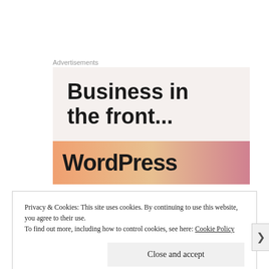Advertisements
[Figure (illustration): Advertisement box with light beige background showing bold text 'Business in the front...' and a colorful gradient bar at the bottom with 'WordPress' text partially visible]
Privacy & Cookies: This site uses cookies. By continuing to use this website, you agree to their use.
To find out more, including how to control cookies, see here: Cookie Policy
Close and accept